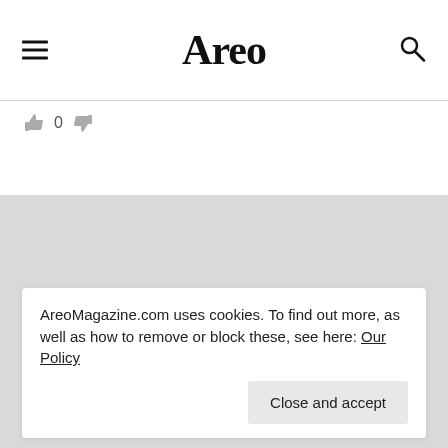Areo
👍 0 👎
[Figure (screenshot): Gray background section with faded article image placeholder]
Psychology, Science & Tech
Worried People Will Speak o...
AreoMagazine.com uses cookies. To find out more, as well as how to remove or block these, see here: Our Policy
Close and accept